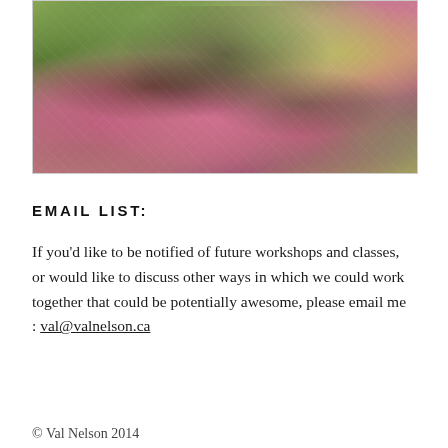[Figure (photo): A colorful abstract painting or photograph of a forest scene with pink, green, and earth tones, showing trees, foliage, and undergrowth in an impressionistic style.]
EMAIL LIST:
If you'd like to be notified of future workshops and classes, or would like to discuss other ways in which we could work together that could be potentially awesome, please email me : val@valnelson.ca
© Val Nelson 2014